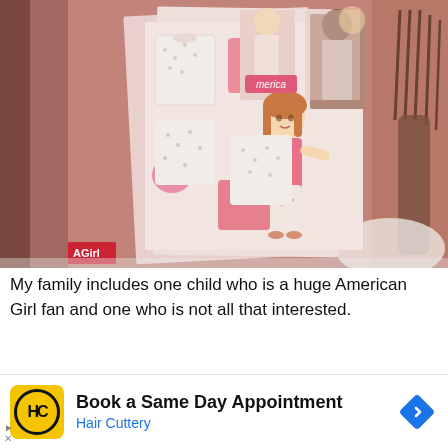[Figure (photo): Photo of American Girl paper doll book/kit on a pink/salmon colored table surface, with paper doll figures visible. A fork and plate are partially visible on the right edge. An American Girl logo is visible at the bottom left of the photo.]
My family includes one child who is a huge American Girl fan and one who is not all that interested.
e really nice thing about this tea is that kids
Book a Same Day Appointment
Hair Cuttery